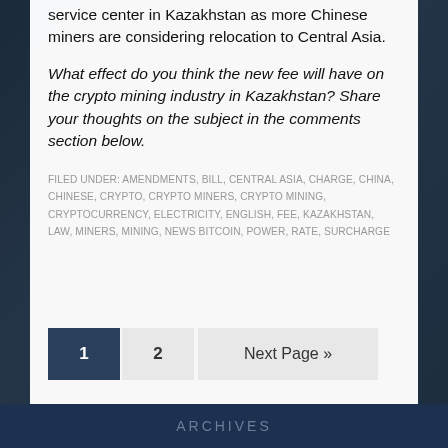service center in Kazakhstan as more Chinese miners are considering relocation to Central Asia.
What effect do you think the new fee will have on the crypto mining industry in Kazakhstan? Share your thoughts on the subject in the comments section below.
FILED UNDER: AMENDMENTS, BILL, CENTRAL ASIA, CHARGE, CHINA, CHINESE, CRYPTO, CRYPTO MINERS, CRYPTO MINING, CRYPTOCURRENCY, ELECTRICITY, ENGLISH, FEE, KAZAKHSTAN, LAW, MINERS, MINING, NEWS BITCOIN, POWER, RATE, SURCHARGE
1
2
Next Page »
ARCHIVES